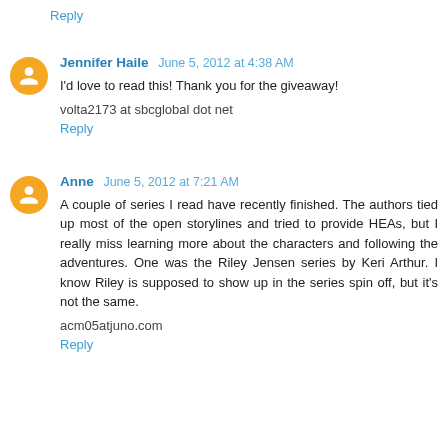Reply
Jennifer Haile  June 5, 2012 at 4:38 AM
I'd love to read this! Thank you for the giveaway!
volta2173 at sbcglobal dot net
Reply
Anne  June 5, 2012 at 7:21 AM
A couple of series I read have recently finished. The authors tied up most of the open storylines and tried to provide HEAs, but I really miss learning more about the characters and following the adventures. One was the Riley Jensen series by Keri Arthur. I know Riley is supposed to show up in the series spin off, but it's not the same.
acm05atjuno.com
Reply